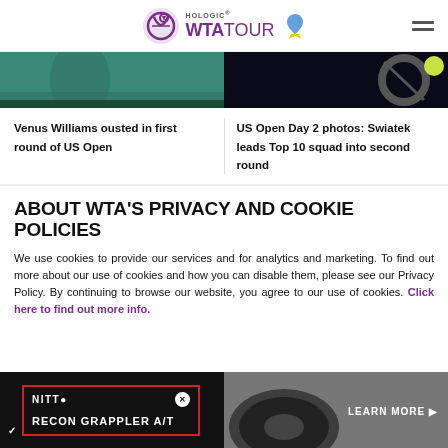Hologic WTA Tour
[Figure (photo): Two sports photos side by side: left shows a tennis player on a teal court, right shows a tennis racket with a yellow ball against a dark background]
Venus Williams ousted in first round of US Open
US Open Day 2 photos: Swiatek leads Top 10 squad into second round
ABOUT WTA'S PRIVACY AND COOKIE POLICIES
We use cookies to provide our services and for analytics and marketing. To find out more about our use of cookies and how you can disable them, please see our Privacy Policy. By continuing to browse our website, you agree to our use of cookies. Click here to find out more info.
[Figure (photo): Advertisement banner for Nitto Recon Grappler A/T tire with dark background, tire image, and Learn More button]